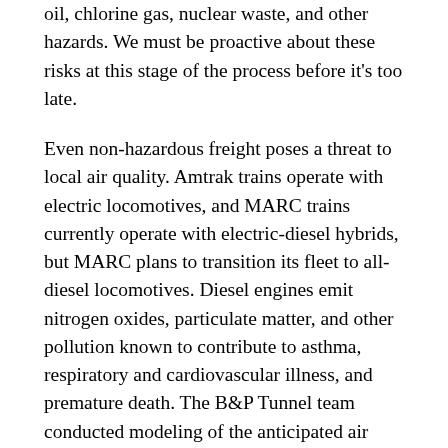oil, chlorine gas, nuclear waste, and other hazards. We must be proactive about these risks at this stage of the process before it's too late.
Even non-hazardous freight poses a threat to local air quality. Amtrak trains operate with electric locomotives, and MARC trains currently operate with electric-diesel hybrids, but MARC plans to transition its fleet to all-diesel locomotives. Diesel engines emit nitrogen oxides, particulate matter, and other pollution known to contribute to asthma, respiratory and cardiovascular illness, and premature death. The B&P Tunnel team conducted modeling of the anticipated air quality impacts of increased MARC train service in the B&P tunnel with the more-polluting diesel locomotives, and found that changes in MARC train service will cause a net increase in carbon monoxide, nitrogen dioxide, volatile organic compounds, and particulate matter pollution in the neighborhoods surrounding the B&P tunnel route, but that this increase would not surpass federal air quality thresholds. However, freight rail shipments also operate on all-diesel